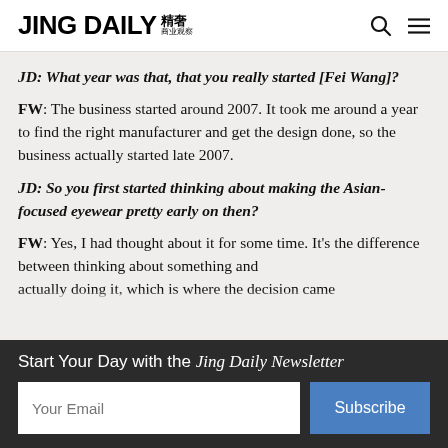JING DAILY 精奢
JD: What year was that, that you really started [Fei Wang]?
FW: The business started around 2007. It took me around a year to find the right manufacturer and get the design done, so the business actually started late 2007.
JD: So you first started thinking about making the Asian-focused eyewear pretty early on then?
FW: Yes, I had thought about it for some time. It's the difference between thinking about something and
Start Your Day with the Jing Daily Newsletter
Your Email
Subscribe